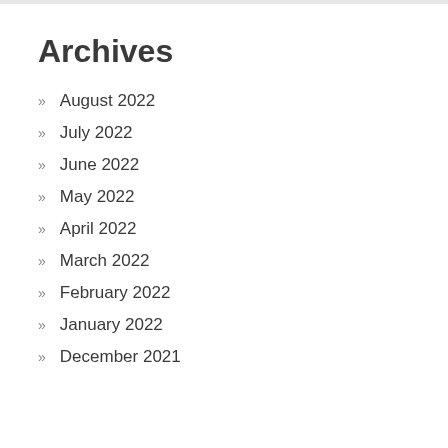Archives
August 2022
July 2022
June 2022
May 2022
April 2022
March 2022
February 2022
January 2022
December 2021